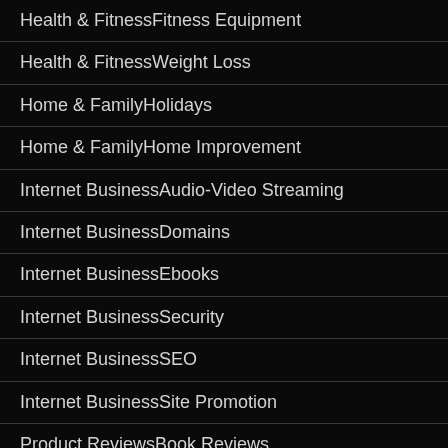Health & FitnessFitness Equipment
Health & FitnessWeight Loss
Home & FamilyHolidays
Home & FamilyHome Improvement
Internet BusinessAudio-Video Streaming
Internet BusinessDomains
Internet BusinessEbooks
Internet BusinessSecurity
Internet BusinessSEO
Internet BusinessSite Promotion
Product ReviewsBook Reviews
Recreation & SportsFishing
Recreation & SportsMartial Arts